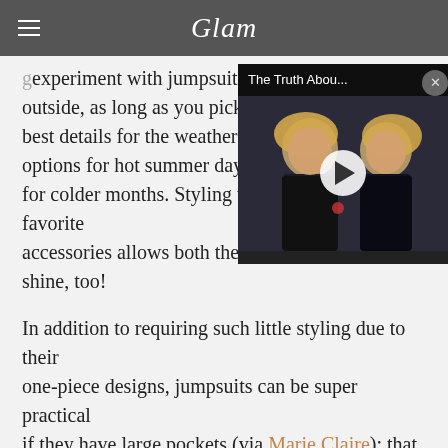Glam
[Figure (screenshot): Video overlay thumbnail showing two blonde women with play button, titled 'The Truth Abou...']
experiment with jumpsuits whether inside or outside, as long as you pick the right cuts and best details for the weather. Think breathable options for hot summer days or heavier materials for colder months. Styling them with your favorite accessories allows both them and the jumpsuit to shine, too!
In addition to requiring such little styling due to their one-piece designs, jumpsuits can be super practical if they have large pockets (via Marie Claire); that helpful detail can help you hold onto your belongings while still remaining stylish and comfortable.